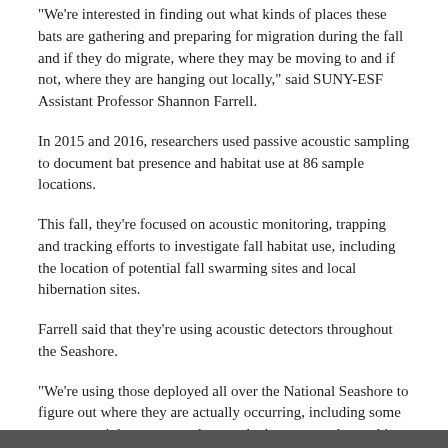“We’re interested in finding out what kinds of places these bats are gathering and preparing for migration during the fall and if they do migrate, where they may be moving to and if not, where they are hanging out locally,” said SUNY-ESF Assistant Professor Shannon Farrell.
In 2015 and 2016, researchers used passive acoustic sampling to document bat presence and habitat use at 86 sample locations.
This fall, they’re focused on acoustic monitoring, trapping and tracking efforts to investigate fall habitat use, including the location of potential fall swarming sites and local hibernation sites.
Farrell said that they’re using acoustic detectors throughout the Seashore.
“We’re using those deployed all over the National Seashore to figure out where they are actually occurring, including some areas we might not expect but we don’t want to rule anything out off-hand,” said Farrell.